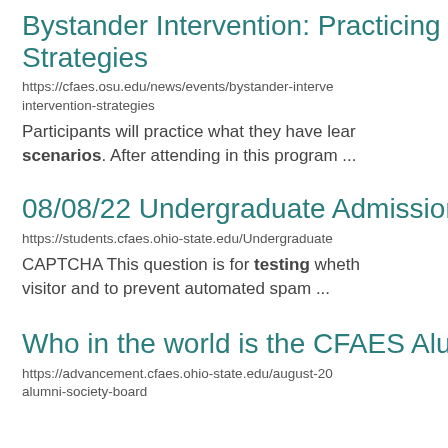Bystander Intervention: Practicing In Strategies
https://cfaes.osu.edu/news/events/bystander-interve intervention-strategies
Participants will practice what they have lear scenarios. After attending in this program ...
08/08/22 Undergraduate Admissions
https://students.cfaes.ohio-state.edu/Undergraduat
CAPTCHA This question is for testing wheth visitor and to prevent automated spam ...
Who in the world is the CFAES Alum
https://advancement.cfaes.ohio-state.edu/august-20 alumni-society-board